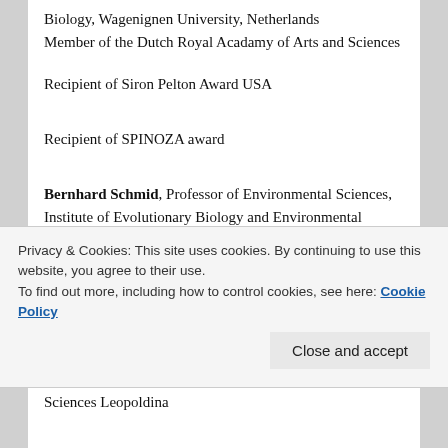Biology, Wagenignen University, Netherlands
Member of the Dutch Royal Acadamy of Arts and Sciences
Recipient of Siron Pelton Award USA
Recipient of SPINOZA award
Bernhard Schmid, Professor of Environmental Sciences, Institute of Evolutionary Biology and Environmental Studies, University of Zürich, Switzerland
Dean of the Faculty of Science
Privacy & Cookies: This site uses cookies. By continuing to use this website, you agree to their use.
To find out more, including how to control cookies, see here: Cookie Policy
Sciences Leopoldina